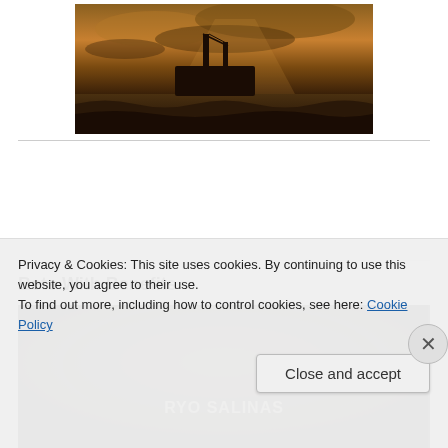[Figure (photo): A dark, stormy seascape with a ship on rough waters and dramatic cloudy sky, warm sepia/brown tones]
Bets With Benefits
[Figure (illustration): Book cover for 'Bets With Benefits' — dark background with text: 'SEXY SHORT STORIES FROM AUTHORS', 'LYNN MICHAELS   MELISSA E COSTA', 'RYO SALINAS']
Privacy & Cookies: This site uses cookies. By continuing to use this website, you agree to their use.
To find out more, including how to control cookies, see here: Cookie Policy
Close and accept